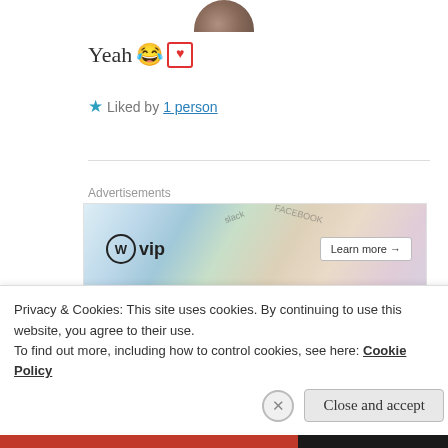[Figure (photo): Partial avatar/profile photo circle at the top center of the page, cropped]
Yeah 😂 🤍
★ Liked by 1 person
Advertisements
[Figure (screenshot): WordPress VIP advertisement banner with logo and 'Learn more →' button]
[Figure (photo): Circular avatar photo for RA ANASTHESYA comment author]
RA ANASTHESYA
7 May 2019 at 8:52 pm
Privacy & Cookies: This site uses cookies. By continuing to use this website, you agree to their use.
To find out more, including how to control cookies, see here: Cookie Policy
Close and accept